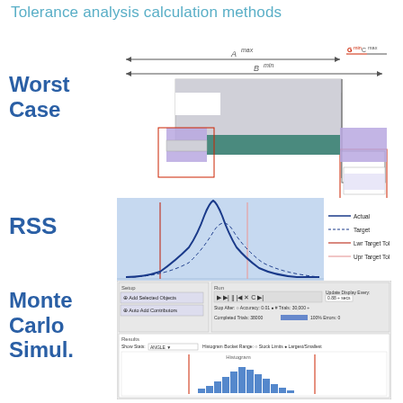Tolerance analysis calculation methods
Worst Case
[Figure (engineering-diagram): Worst case tolerance diagram showing parts with dimensional labels A_max, B_min, G_min, C_max with arrows indicating tolerances. Two stepped parts shown in grey and blue/teal with purple shading on mating surfaces.]
RSS
[Figure (continuous-plot): RSS bell curve distribution chart on blue background. Shows actual (solid blue), Target (dashed), Lwr Target Tol (red), Upr Target Tol (pink) lines. X-axis ranges from 36.32 to 41.32.]
Monte Carlo Simul.
[Figure (screenshot): Monte Carlo Simulation software interface screenshot showing Setup panel with Add Selected Objects and Auto Add Contributors buttons, Run panel with playback controls, Stop After Accuracy 0.01, # Trials 30000, Completed Trials 38000 100% Errors 0. Results section showing ANGLE histogram with Histogram Bucket Range and Stack Limits options. Blue histogram bars shown with red tolerance lines.]